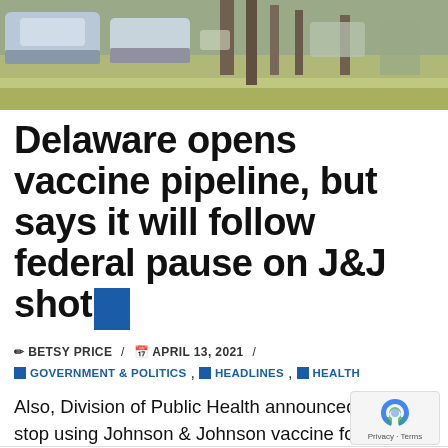[Figure (photo): Outdoor scene with parked cars, trees, and a grassy area]
Delaware opens vaccine pipeline, but says it will follow federal pause on J&J shot
✏ BETSY PRICE / 📅 APRIL 13, 2021 /
🔖 GOVERNMENT & POLITICS, 🔖 HEADLINES, 🔖 HEALTH
Also, Division of Public Health announced it will stop using Johnson & Johnson vaccine for the time being
DELAWARE COVID-19 VACCINATIONS   GOV. JOHN CARNEY